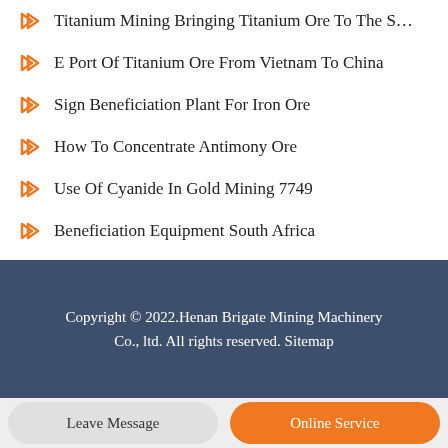Titanium Mining Bringing Titanium Ore To The S…
E Port Of Titanium Ore From Vietnam To China
Sign Beneficiation Plant For Iron Ore
How To Concentrate Antimony Ore
Use Of Cyanide In Gold Mining 7749
Beneficiation Equipment South Africa
Copyright © 2022.Henan Brigate Mining Machinery Co., ltd. All rights reserved. Sitemap
Leave Message
Online Service